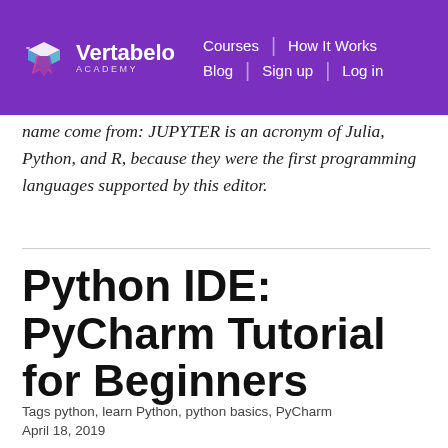Vertabelo Academy | Courses | Blog | How It Works | Sign up | Log in
name come from: JUPYTER is an acronym of Julia, Python, and R, because they were the first programming languages supported by this editor.
Python IDE: PyCharm Tutorial for Beginners
Tags python, learn Python, python basics, PyCharm
April 18, 2019